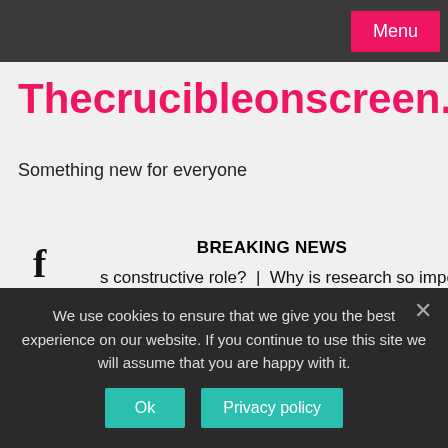Menu
Thecrucibleonscreen.com
Something new for everyone
BREAKING NEWS
s constructive role?  |  Why is research so important?  |  Did A
24/08/2022
We use cookies to ensure that we give you the best experience on our website. If you continue to use this site we will assume that you are happy with it.